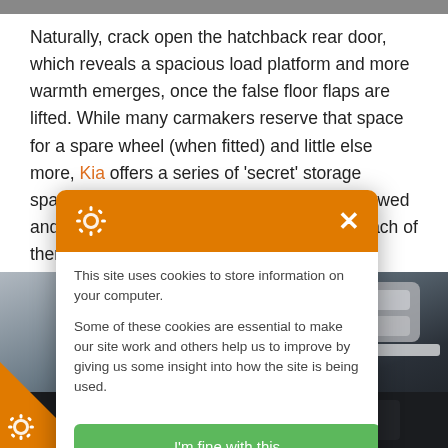[Figure (photo): Top strip of a car photo — partial view of a vehicle interior or exterior, cropped at the very top of the page.]
Naturally, crack open the hatchback rear door, which reveals a spacious load platform and more warmth emerges, once the false floor flaps are lifted. While many carmakers reserve that space for a spare wheel (when fitted) and little else more, Kia offers a series of 'secret' storage spaces, into which personal items can be stowed and shut off from unwelcome prying eyes. Each of them feels like a trinket box perched upon a dressing table, i... xpensive watch, a set of cufflink... sense of agreeable domes... ting in one's life.
[Figure (photo): Car boot/trunk interior photograph showing storage compartments, a retractable cargo cover, and grey/dark plastic panels.]
[Figure (screenshot): Cookie consent popup overlay. Header is orange with a gear/settings icon and a white X close button. Body text reads: 'This site uses cookies to store information on your computer. Some of these cookies are essential to make our site work and others help us to improve by giving us some insight into how the site is being used.' A green button reads 'I'm fine with this'. Bottom-left corner has an orange triangle with a gear icon.]